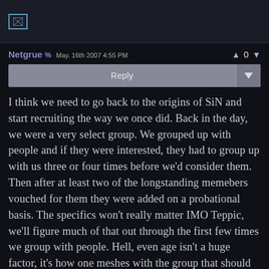[Figure (other): Avatar image placeholder with broken image icon]
Netgrue % May. 16th 2007 4:55 PM — vote: 0
Reply
I think we need to go back to the origins of SiN and start recruiting the way we once did. Back in the day, we were a very select group. We grouped up with people and if they were interested, they had to group up with us three or four times before we'd consider them. Then after at least two of the longstanding memebers vouched for them they were added on a probational basis. The specifics won't really matter IMO Teppic, we'll figure much of that out through the first few times we group with people. Hell, even age isn't a huge factor, it's how one meshes with the group that should be the deciding factor.